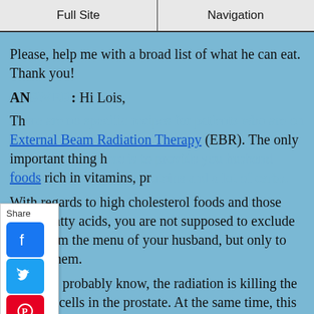Full Site | Navigation
Please, help me with a broad list of what he can eat. Thank you!
ANSWER: Hi Lois,
There are no specific recipes for patients who are on External Beam Radiation Therapy (EBR). The only important thing here is to provide you husband foods rich in vitamins, proteins and a lot of carbs.
With regards to high cholesterol foods and those rich in fatty acids, you are not supposed to exclude them from the menu of your husband, but only to reduce them.
As you probably know, the radiation is killing the cancer cells in the prostate. At the same time, this radiation is affecting the normal cells of the prostate, bladder and other